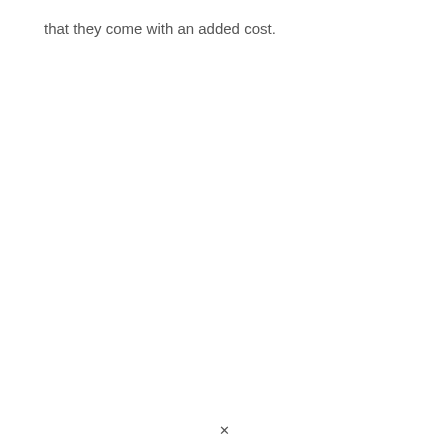that they come with an added cost.
×